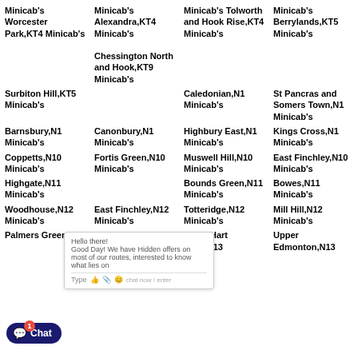Minicab's Worcester Park,KT4 Minicab's
Minicab's Alexandra,KT4 Minicab's Chessington North and Hook,KT9 Minicab's
Minicab's Tolworth and Hook Rise,KT4 Minicab's
Minicab's Berrylands,KT5 Minicab's
Surbiton Hill,KT5 Minicab's
Caledonian,N1 Minicab's
St Pancras and Somers Town,N1 Minicab's
Barnsbury,N1 Minicab's
Canonbury,N1 Minicab's
Highbury East,N1 Minicab's
Kings Cross,N1 Minicab's
Coppetts,N10 Minicab's
Fortis Green,N10 Minicab's
Muswell Hill,N10 Minicab's
East Finchley,N10 Minicab's
Highgate,N11 Minicab's
Bounds Green,N11 Minicab's
Bowes,N11 Minicab's
Woodhouse,N12 Minicab's
East Finchley,N12 Minicab's
Totteridge,N12 Minicab's
Mill Hill,N12 Minicab's
Palmers Green,N13 Minicab's
Winchmore Hill N13 Minicab's
White Hart Lane,N13 Minicab's
Upper Edmonton,N13